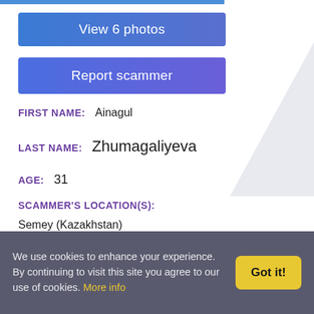View 6 photos
Report scammer
FIRST NAME: Ainagul
LAST NAME: Zhumagaliyeva
AGE: 31
SCAMMER'S LOCATION(S):
Semey (Kazakhstan)
ADDRESS(ES):
E-MAIL ADDRESS(ES):
We use cookies to enhance your experience. By continuing to visit this site you agree to our use of cookies. More info  Got it!